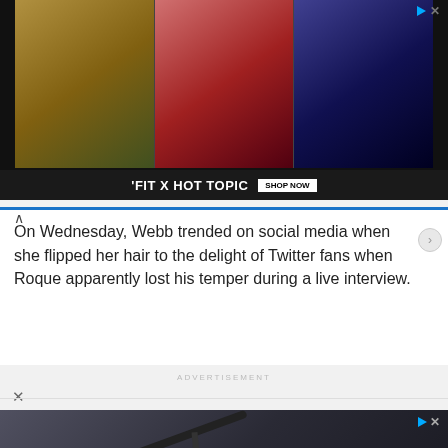[Figure (photo): Advertisement banner showing three young celebrities (left male in striped outfit outdoors, center female in red outfit, right male in dark outfit). Bottom bar reads 'FIT X HOT TOPIC' with 'SHOP NOW' button.]
On Wednesday, Webb trended on social media when she flipped her hair to the delight of Twitter fans when Roque apparently lost his temper during a live interview.
ADVERTISEMENT
[Figure (photo): Advertisement for Helbiz scooter rental app showing a close-up of a scooter handlebar. Text reads 'Download Helbiz and ride'.]